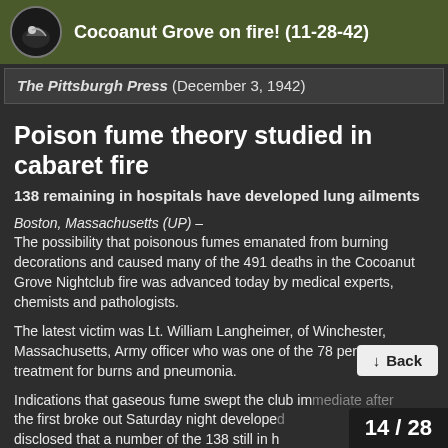Cocoanut Grove on fire! (11-28-42)
The Pittsburgh Press (December 3, 1942)
Poison fume theory studied in cabaret fire
138 remaining in hospitals have developed lung ailments
Boston, Massachusetts (UP) – The possibility that poisonous fumes emanated from burning decorations and caused many of the 491 deaths in the Cocoanut Grove Nightclub fire was advanced today by medical experts, chemists and pathologists.
The latest victim was Lt. William Langheimer, of Winchester, Massachusetts, Army officer who was one of the 78 persons under treatment for burns and pneumonia.
Indications that gaseous fume swept the club immediate after the first broke out Saturday night developed disclosed that a number of the 138 still in h